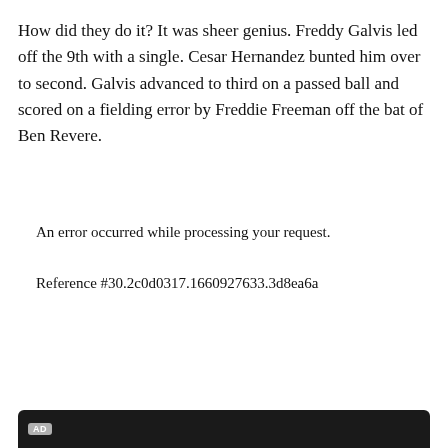How did they do it? It was sheer genius. Freddy Galvis led off the 9th with a single. Cesar Hernandez bunted him over to second. Galvis advanced to third on a passed ball and scored on a fielding error by Freddie Freeman off the bat of Ben Revere.
An error occurred while processing your request.
Reference #30.2c0d0317.1660927633.3d8ea6a